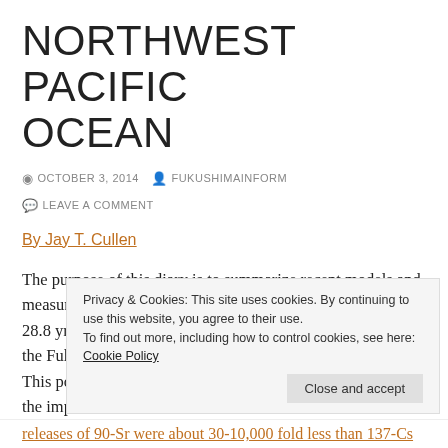NORTHWEST PACIFIC OCEAN
OCTOBER 3, 2014   FUKUSHIMAINFORM   LEAVE A COMMENT
By Jay T. Cullen
The purpose of this diary is to summarize recent models and measurements of the release of strontium-90 (90-Sr, half life 28.8 yr) to the ocean resulting from the triple meltdowns at the Fukushima-Daiichi nuclear power plant in March 2011. This post is part of an ongoing series aimed at understanding the impact of the disaster on the North Pacific Ocean and
Privacy & Cookies: This site uses cookies. By continuing to use this website, you agree to their use. To find out more, including how to control cookies, see here: Cookie Policy
releases of 90-Sr were about 30-10,000 fold less than 137-Cs